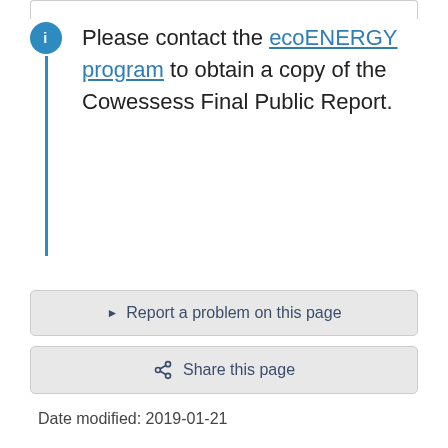Please contact the ecoENERGY program to obtain a copy of the Cowessess Final Public Report.
▶ Report a problem on this page
Share this page
Date modified: 2019-01-21